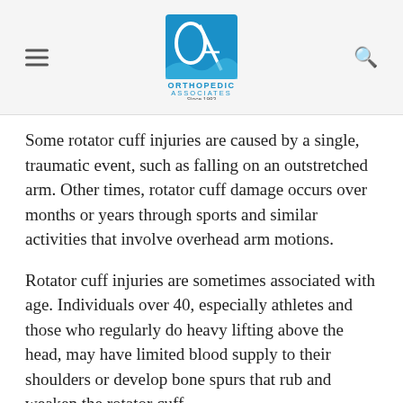Orthopedic Associates Since 1983
Some rotator cuff injuries are caused by a single, traumatic event, such as falling on an outstretched arm. Other times, rotator cuff damage occurs over months or years through sports and similar activities that involve overhead arm motions.
Rotator cuff injuries are sometimes associated with age. Individuals over 40, especially athletes and those who regularly do heavy lifting above the head, may have limited blood supply to their shoulders or develop bone spurs that rub and weaken the rotator cuff.